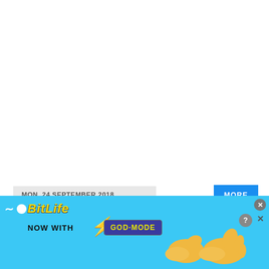MON, 24 SEPTEMBER 2018
[Figure (screenshot): Date bar showing MON, 24 SEPTEMBER 2018 with a MORE button in blue, a close X button in black, and an accessibility icon (yellow circle with person icon). Below is a BitLife advertisement banner with 'NOW WITH GOD MODE' text, lightning bolt graphic, and cartoon hand illustrations on a light blue background.]